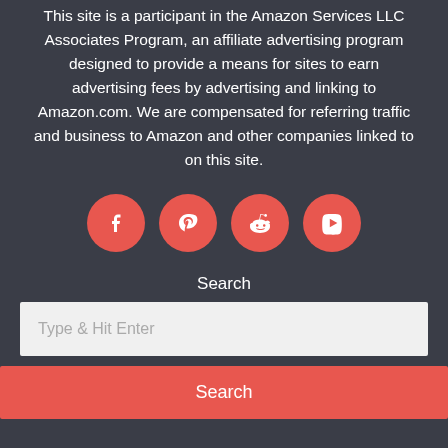This site is a participant in the Amazon Services LLC Associates Program, an affiliate advertising program designed to provide a means for sites to earn advertising fees by advertising and linking to Amazon.com. We are compensated for referring traffic and business to Amazon and other companies linked to on this site.
[Figure (infographic): Four social media icons (Facebook, Pinterest, Reddit, YouTube) displayed as white icons on coral/red circular backgrounds.]
Search
Type & Hit Enter
Search